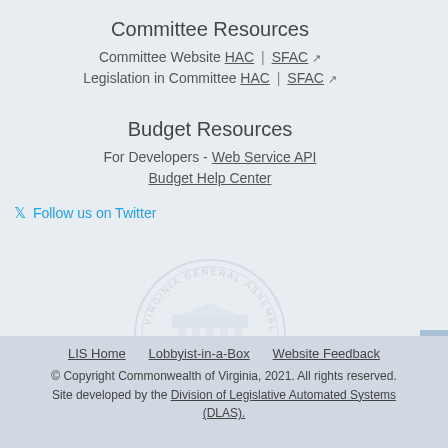Committee Resources
Committee Website HAC | SFAC
Legislation in Committee HAC | SFAC
Budget Resources
For Developers - Web Service API
Budget Help Center
Follow us on Twitter
[Figure (logo): Virginia General Assembly watermark seal with building illustration]
LIS Home  Lobbyist-in-a-Box  Website Feedback
© Copyright Commonwealth of Virginia, 2021. All rights reserved. Site developed by the Division of Legislative Automated Systems (DLAS).